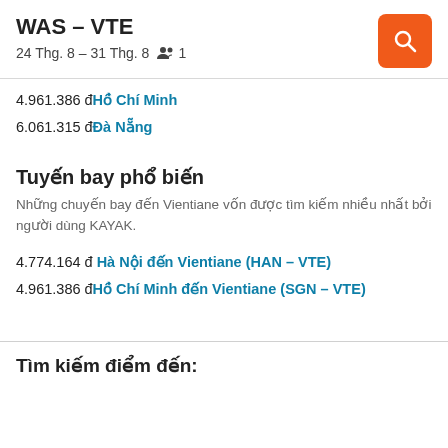WAS – VTE
24 Thg. 8 – 31 Thg. 8  👥 1
4.961.386 đ Hồ Chí Minh
6.061.315 đ Đà Nẵng
Tuyến bay phổ biến
Những chuyến bay đến Vientiane vốn được tìm kiếm nhiều nhất bởi người dùng KAYAK.
4.774.164 đ Hà Nội đến Vientiane (HAN – VTE)
4.961.386 đ Hồ Chí Minh đến Vientiane (SGN – VTE)
Tìm kiếm điểm đến:
(cut off at bottom)